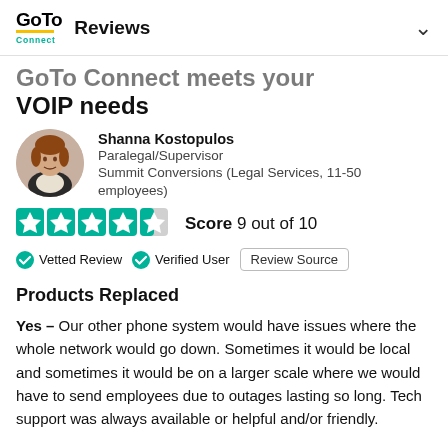GoTo Connect  Reviews
GoTo Connect meets your VOIP needs
Shanna Kostopulos
Paralegal/Supervisor
Summit Conversions (Legal Services, 11-50 employees)
Score 9 out of 10
Vetted Review  Verified User  Review Source
Products Replaced
Yes – Our other phone system would have issues where the whole network would go down. Sometimes it would be local and sometimes it would be on a larger scale where we would have to send employees due to outages lasting so long. Tech support was always available or helpful and/or friendly.